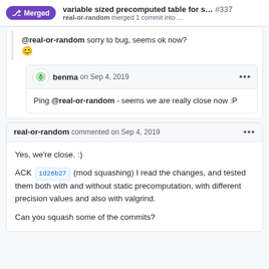variable sized precomputed table for s... #337 — Merged — real-or-random merged 1 commit into ...
@real-or-random sorry to bug, seems ok now? 😊
benma on Sep 4, 2019 — Ping @real-or-random - seems we are really close now :P
real-or-random commented on Sep 4, 2019
Yes, we're close. :)

ACK 1d26b27 (mod squashing) I read the changes, and tested them both with and without static precomputation, with different precision values and also with valgrind.

Can you squash some of the commits?